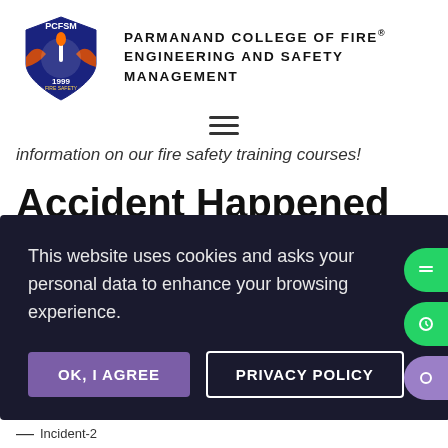[Figure (logo): PCFSM shield logo with fire safety imagery and year 1999]
PARMANAND COLLEGE OF FIRE® ENGINEERING AND SAFETY MANAGEMENT
[Figure (other): Hamburger menu icon (three horizontal lines)]
information on our fire safety training courses!
Accident Happened due
This website uses cookies and asks your personal data to enhance your browsing experience.
OK, I AGREE
PRIVACY POLICY
— Incident-2